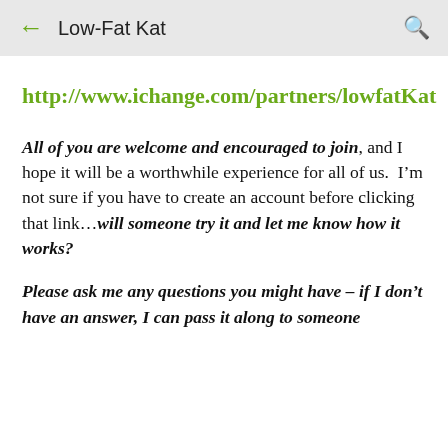← Low-Fat Kat 🔍
http://www.ichange.com/partners/lowfatKat
All of you are welcome and encouraged to join, and I hope it will be a worthwhile experience for all of us.  I'm not sure if you have to create an account before clicking that link…will someone try it and let me know how it works?
Please ask me any questions you might have – if I don't have an answer, I can pass it along to someone